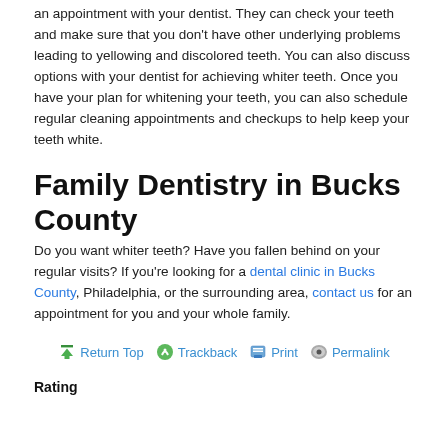an appointment with your dentist. They can check your teeth and make sure that you don't have other underlying problems leading to yellowing and discolored teeth. You can also discuss options with your dentist for achieving whiter teeth. Once you have your plan for whitening your teeth, you can also schedule regular cleaning appointments and checkups to help keep your teeth white.
Family Dentistry in Bucks County
Do you want whiter teeth? Have you fallen behind on your regular visits? If you're looking for a dental clinic in Bucks County, Philadelphia, or the surrounding area, contact us for an appointment for you and your whole family.
Return Top   Trackback   Print   Permalink
Rating